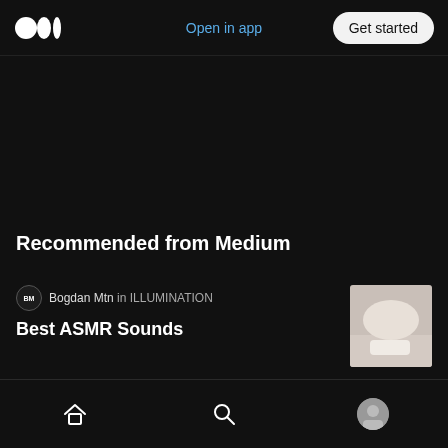Open in app | Get started
Recommended from Medium
Bogdan Mtn in ILLUMINATION
Best ASMR Sounds
[Figure (photo): Thumbnail image for Best ASMR Sounds article]
David Andrew Wiebe in Abundance Attraction
Your programming runs deep
[Figure (photo): Thumbnail image for Your programming runs deep article]
Home | Search | Profile navigation icons